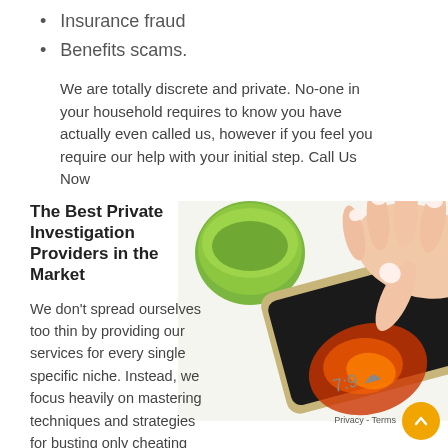Insurance fraud
Benefits scams.
We are totally discrete and private. No-one in your household requires to know you have actually even called us, however if you feel you require our help with your initial step. Call Us Now
The Best Private Investigation Providers in the Market
[Figure (photo): A hand with manicured nails using a smartphone, with a green bowl in the background on a white surface.]
We don't spread ourselves too thin by providing our services for every single specific niche. Instead, we focus heavily on mastering techniques and strategies for busting only cheating spouses, even the